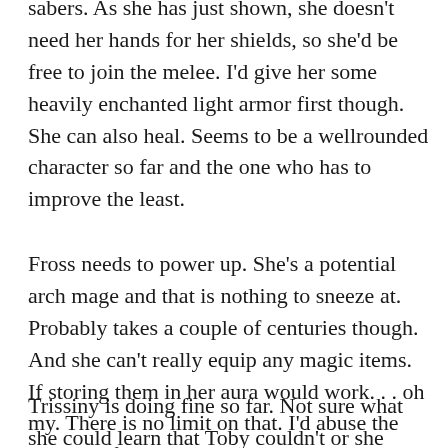Shalara is trained in combat, using twin sabers. As she has just shown, she doesn't need her hands for her shields, so she'd be free to join the melee. I'd give her some heavily enchanted light armor first though. She can also heal. Seems to be a wellrounded character so far and the one who has to improve the least.
Fross needs to power up. She's a potential arch mage and that is nothing to sneeze at. Probably takes a couple of centuries though. And she can't really equip any magic items. If storing them in her aura would work. . . oh my. There is no limit on that. I'd abuse the hell out of that. ^^
Trissiny is doing fine so far. Not sure what she could learn that Toby couldn't or she didn't say the above.